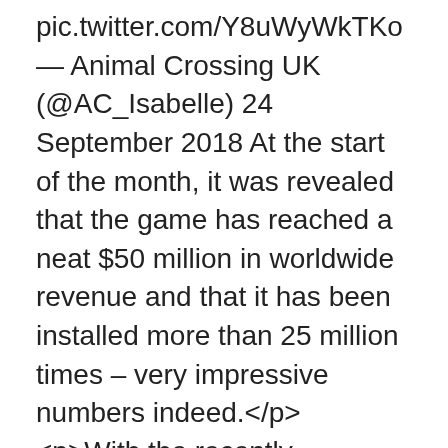pic.twitter.com/Y8uWyWkTKo— Animal Crossing UK (@AC_Isabelle) 24 September 2018 At the start of the month, it was revealed that the game has reached a neat $50 million in worldwide revenue and that it has been installed more than 25 million times – very impressive numbers indeed.</p><p>With the recently announced Animal Crossing for Switch, this is proving to be a very exciting year for fans of Nintendo's delightful series. Plus, now might also be the best time to jump in and start playing Pocket Camp, thanks to the ongoing Splatoon crossover event.</p><p>So, if you haven't given this one a go already, you can download it now for free on the App Store or Google Play.</p>
3🔷<p>South Korean studio PATI Games has